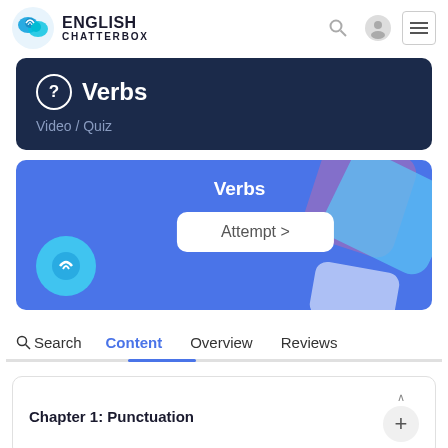ENGLISH CHATTERBOX
Verbs
Video / Quiz
[Figure (screenshot): Blue quiz card with title 'Verbs', an 'Attempt >' button, decorative shapes, and a circular icon on the left]
Search  Content  Overview  Reviews
Chapter 1: Punctuation